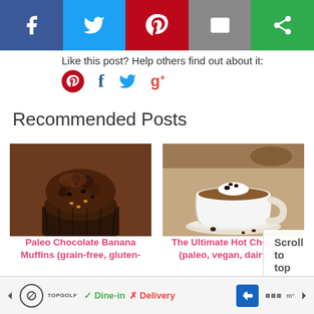[Figure (other): Social share bar with Facebook, Twitter, Pinterest, Email, and other share buttons]
Like this post? Help others find out about it:
[Figure (other): Social media icons row: Pinterest, Facebook, Twitter, Google+]
Recommended Posts
[Figure (photo): Photo of a chocolate muffin/cupcake stacked]
Paleo Chocolate Banana Muffins (grain-free, gluten-
[Figure (photo): Photo of a cup of hot chocolate with whipped cream]
The Ultimate Hot Chocolate (paleo, vegan, dairy-free
[Figure (other): Scroll to top overlay button]
[Figure (other): Bottom advertisement bar with TopGolf logo, Dine-in, Delivery options]